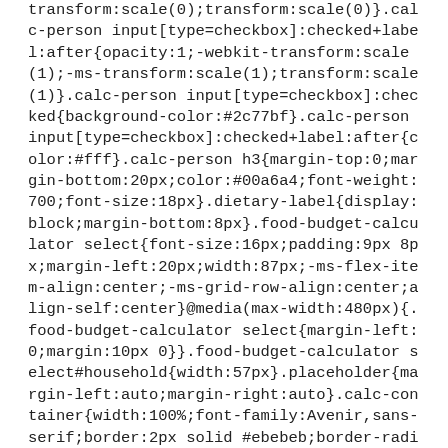transform:scale(0);transform:scale(0)}.calc-person input[type=checkbox]:checked+label:after{opacity:1;-webkit-transform:scale(1);-ms-transform:scale(1);transform:scale(1)}.calc-person input[type=checkbox]:checked{background-color:#2c77bf}.calc-person input[type=checkbox]:checked+label:after{color:#fff}.calc-person h3{margin-top:0;margin-bottom:20px;color:#00a6a4;font-weight:700;font-size:18px}.dietary-label{display:block;margin-bottom:8px}.food-budget-calculator select{font-size:16px;padding:9px 8px;margin-left:20px;width:87px;-ms-flex-item-align:center;-ms-grid-row-align:center;align-self:center}@media(max-width:480px){.food-budget-calculator select{margin-left:0;margin:10px 0}}.food-budget-calculator select#household{width:57px}.placeholder{margin-left:auto;margin-right:auto}.calc-container{width:100%;font-family:Avenir,sans-serif;border:2px solid #ebebeb;border-radius:8px;border-top:0;border-top-left-